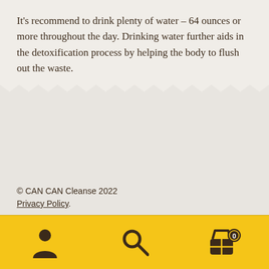It's recommend to drink plenty of water – 64 ounces or more throughout the day. Drinking water further aids in the detoxification process by helping the body to flush out the waste.
© CAN CAN Cleanse 2022
Privacy Policy.